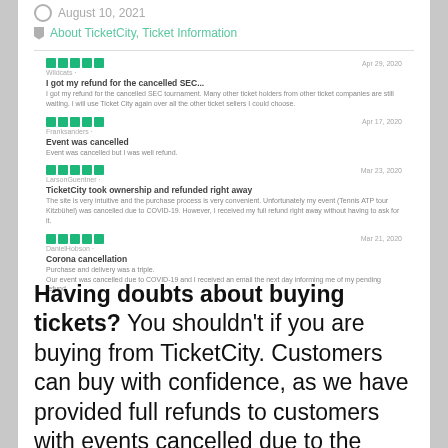August 10, 2021
About TicketCity, Ticket Information
[Figure (screenshot): Four Trustpilot-style review cards with 5-star ratings, reviewer names, review titles, dates, and body text about TicketCity refunds related to COVID-19 event cancellations.]
Having doubts about buying tickets? You shouldn't if you are buying from TicketCity. Customers can buy with confidence, as we have provided full refunds to customers with events cancelled due to the Covid-19 pandemic and beyond.